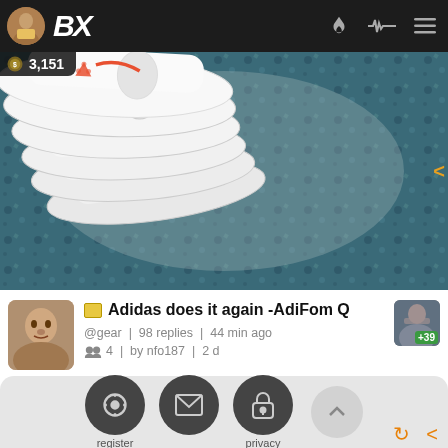BX | 3,151
[Figure (photo): Hero banner image of white Adidas AdiFom Q shoes on a patterned carpet background]
Adidas does it again -AdiFom Q
@gear | 98 replies | 44 min ago
4 | by nfo187 | 2 d
[Figure (infographic): Bottom footer area with register (power icon), mail envelope icon, and privacy (lock icon) circular buttons, plus an up-arrow button and orange refresh/back icons]